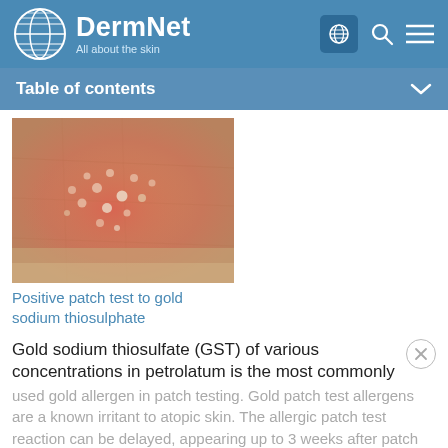DermNet — All about the skin
Table of contents
[Figure (photo): Close-up photo of a positive patch test reaction to gold sodium thiosulphate showing reddened skin with small white/yellow papules]
Positive patch test to gold sodium thiosulphate
Gold sodium thiosulfate (GST) of various concentrations in petrolatum is the most commonly used gold allergen in patch testing. Gold patch test allergens are a known irritant to atopic skin. The allergic patch test reaction can be delayed, appearing up to 3 weeks after patch removal and remission